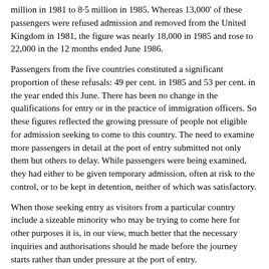million in 1981 to 8·5 million in 1985. Whereas 13,000' of these passengers were refused admission and removed from the United Kingdom in 1981, the figure was nearly 18,000 in 1985 and rose to 22,000 in the 12 months ended June 1986.
Passengers from the five countries constituted a significant proportion of these refusals: 49 per cent. in 1985 and 53 per cent. in the year ended this June. There has been no change in the qualifications for entry or in the practice of immigration officers. So these figures reflected the growing pressure of people not eligible for admission seeking to come to this country. The need to examine more passengers in detail at the port of entry submitted not only them but others to delay. While passengers were being examined, they had either to be given temporary admission, often at risk to the control, or to be kept in detention, neither of which was satisfactory.
When those seeking entry as visitors from a particular country include a sizeable minority who may be trying to come here for other purposes it is, in our view, much better that the necessary inquiries and authorisations should he made before the journey starts rather than under pressure at the port of entry.
In order to safeguard the interests of bona fide visitors, my right hon. and learned Friend the Foreign and Commonwealth Secretary has strengthened the staff of consulates in the relevant countries, that is...